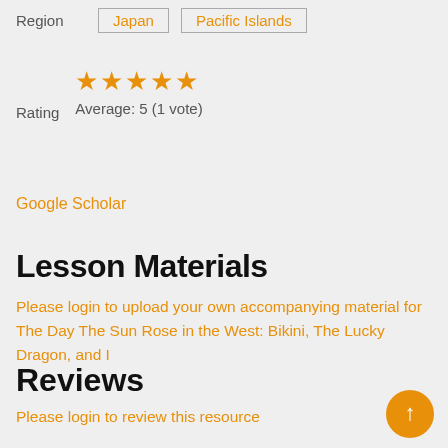|  | Region | Japan | Pacific Islands |
| --- | --- | --- | --- |
Rating
Average: 5 (1 vote)
Google Scholar
Lesson Materials
Please login to upload your own accompanying material for The Day The Sun Rose in the West: Bikini, The Lucky Dragon, and I
Reviews
Please login to review this resource